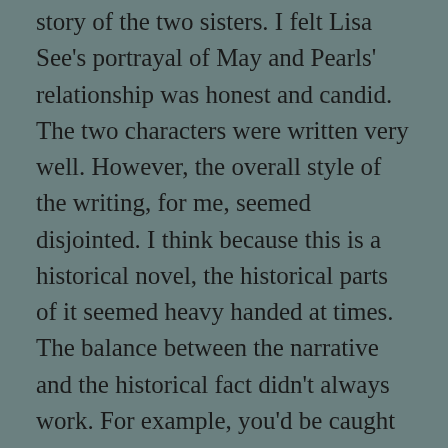story of the two sisters. I felt Lisa See's portrayal of May and Pearls' relationship was honest and candid. The two characters were written very well. However, the overall style of the writing, for me, seemed disjointed. I think because this is a historical novel, the historical parts of it seemed heavy handed at times. The balance between the narrative and the historical fact didn't always work. For example, you'd be caught up in a deeply personal scene between characters and then all of a sudden a fact about the Japanese invading China or the Japanese bombing Pearl Harbor would sneak in. It took me out of the narrative. I suppose it is possible that Lisa See did this on purpose to mirror the disruption the characters were feeling in their own lives due to these conflicts, however it doesn't seem consistent enough to be considered a choice.